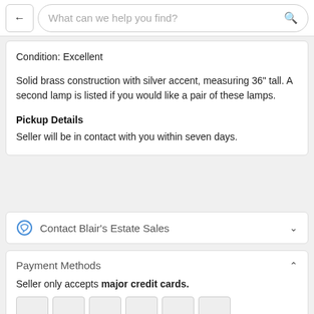What can we help you find?
Condition: Excellent
Solid brass construction with silver accent, measuring 36" tall. A second lamp is listed if you would like a pair of these lamps.
Pickup Details
Seller will be in contact with you within seven days.
Contact Blair's Estate Sales
Payment Methods
Seller only accepts major credit cards.